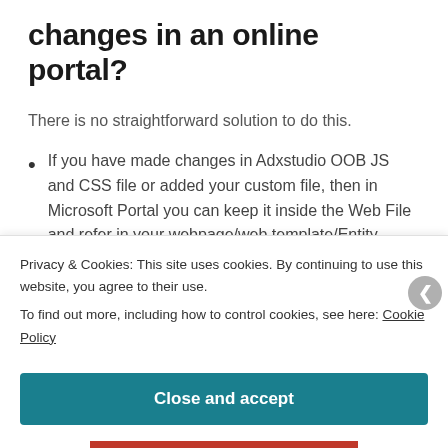changes in an online portal?
There is no straightforward solution to do this.
If you have made changes in Adxstudio OOB JS and CSS file or added your custom file, then in Microsoft Portal you can keep it inside the Web File and refer in your webpage/web template/Entity form/Entity Lisi wherever you
Privacy & Cookies: This site uses cookies. By continuing to use this website, you agree to their use.
To find out more, including how to control cookies, see here: Cookie Policy
Close and accept